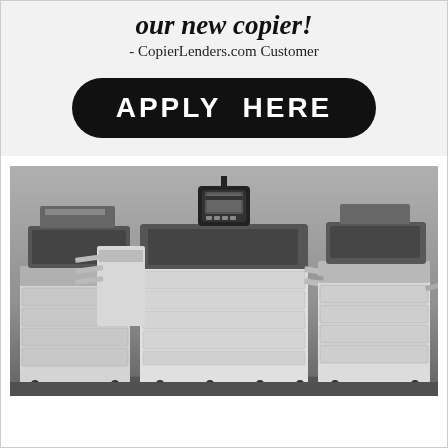our new copier!
- CopierLenders.com Customer
[Figure (other): Black rounded rectangle button with white bold text reading 'APPLY HERE']
[Figure (photo): Grayscale photo of multiple large office copier/printer machines arranged side by side on a gray background]